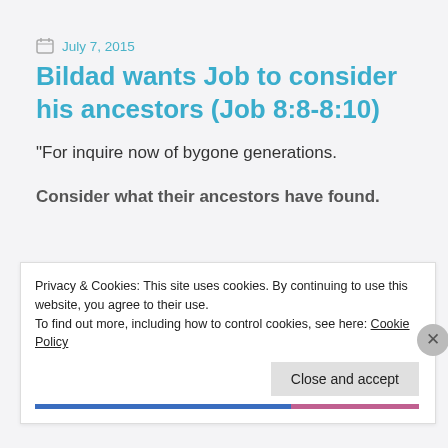July 7, 2015
Bildad wants Job to consider his ancestors (Job 8:8-8:10)
“For inquire now of bygone generations.
Consider what their ancestors have found.
Privacy & Cookies: This site uses cookies. By continuing to use this website, you agree to their use.
To find out more, including how to control cookies, see here: Cookie Policy